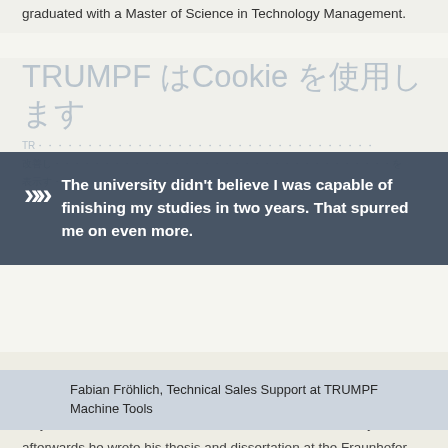graduated with a Master of Science in Technology Management.
TRUMPF はCookie を使用します
The university didn't believe I was capable of finishing my studies in two years. That spurred me on even more.
Fabian Fröhlich, Technical Sales Support at TRUMPF Machine Tools
This ambitious schedule had a price: "During the summer months, for example, I found it very hard to find the discipline to study." Six major exams were taken at short intervals and immediately afterwards he wrote his thesis and dissertation at the Fraunhofer